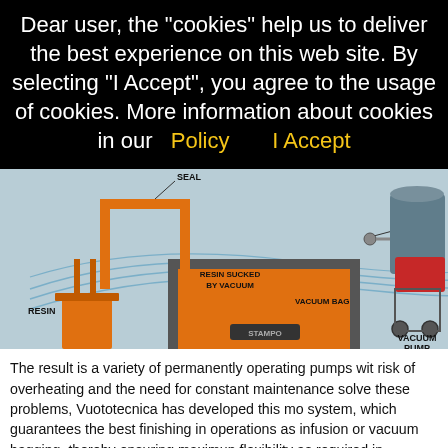Dear user, the "cookies" help us to deliver the best experience on this web site. By selecting "I Accept", you agree to the usage of cookies. More information about cookies in our   Policy        I Accept
[Figure (schematic): Vacuum infusion / vacuum bagging process diagram showing: RESIN container on left, SEAL labeled pipe loop, RESIN SUCKED BY VACUUM label, VACUUM BAG label, SUCTION CUP label at top right, mold (STAMPO) in center, and VACUUM PUMP (industrial unit on wheels) on far right.]
The result is a variety of permanently operating pumps wit risk of overheating and the need for constant maintenance solve these problems, Vuototecnica has developed this mo system, which guarantees the best finishing in operations as infusion or vacuum bagging, thereby ensuring maximun flexibility as required in shipyards.